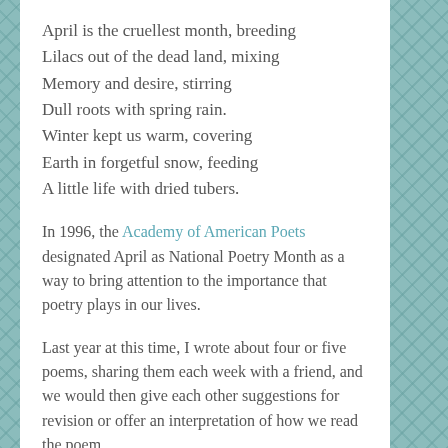April is the cruellest month, breeding
Lilacs out of the dead land, mixing
Memory and desire, stirring
Dull roots with spring rain.
Winter kept us warm, covering
Earth in forgetful snow, feeding
A little life with dried tubers.
In 1996, the Academy of American Poets designated April as National Poetry Month as a way to bring attention to the importance that poetry plays in our lives.
Last year at this time, I wrote about four or five poems, sharing them each week with a friend, and we would then give each other suggestions for revision or offer an interpretation of how we read the poem.
We've agreed to do the same weekly sharing of a new